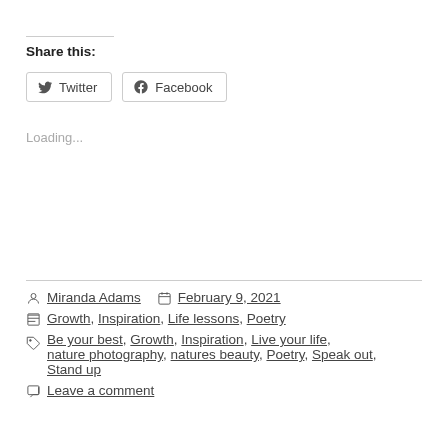Share this:
Twitter Facebook
Loading...
Miranda Adams  February 9, 2021
Growth, Inspiration, Life lessons, Poetry
Be your best, Growth, Inspiration, Live your life, nature photography, natures beauty, Poetry, Speak out, Stand up
Leave a comment